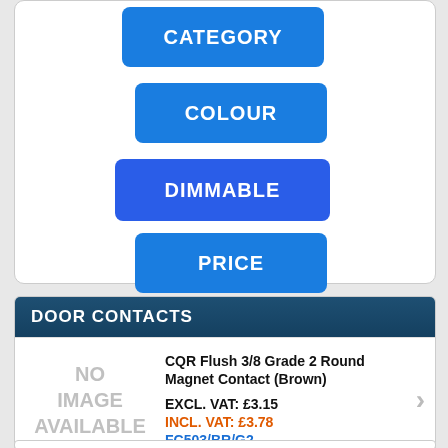CATEGORY
COLOUR
DIMMABLE
PRICE
DOOR CONTACTS
[Figure (other): No image available placeholder]
CQR Flush 3/8 Grade 2 Round Magnet Contact (Brown)
EXCL. VAT: £3.15
INCL. VAT: £3.78
FC503/BR/G2